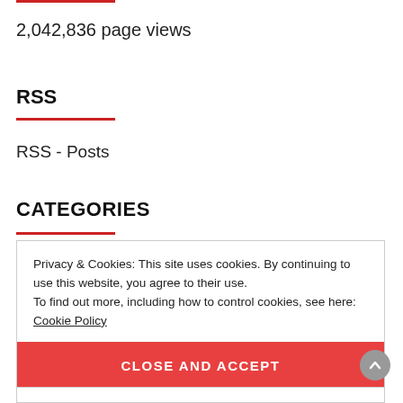2,042,836 page views
RSS
RSS - Posts
CATEGORIES
Privacy & Cookies: This site uses cookies. By continuing to use this website, you agree to their use.
To find out more, including how to control cookies, see here: Cookie Policy
CLOSE AND ACCEPT